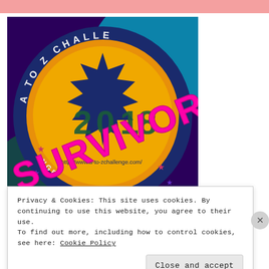[Figure (illustration): A-to-Z Challenge 2018 Survivor badge/logo. Colorful circular badge with 'A TO Z CHALLENGE' text around the border, '2018' in large numbers in the center, 'SURVIVOR' overlaid in large bright magenta/pink text diagonally, and 'http://www.a-to-zchallenge.com/' at the bottom of the circle. The badge has decorative star elements and a dark blue starburst shape in the center. Background is a vivid multi-color gradient of orange, purple, and green.]
Privacy & Cookies: This site uses cookies. By continuing to use this website, you agree to their use.
To find out more, including how to control cookies, see here: Cookie Policy
Close and accept